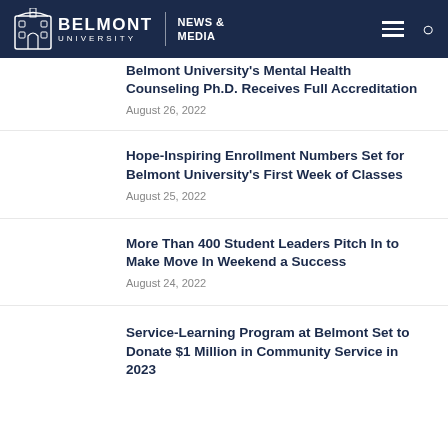Belmont University News & Media
Belmont University's Mental Health Counseling Ph.D. Receives Full Accreditation
August 26, 2022
Hope-Inspiring Enrollment Numbers Set for Belmont University's First Week of Classes
August 25, 2022
More Than 400 Student Leaders Pitch In to Make Move In Weekend a Success
August 24, 2022
Service-Learning Program at Belmont Set to Donate $1 Million in Community Service in 2023